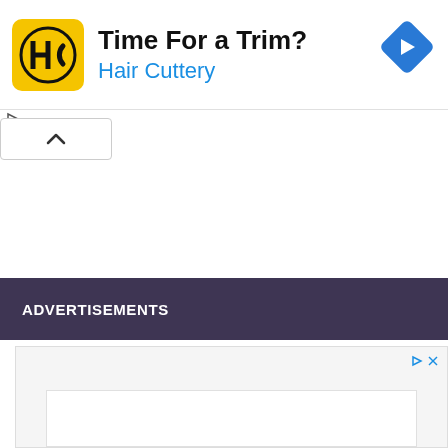[Figure (advertisement): Hair Cuttery advertisement banner with yellow HC logo square, text 'Time For a Trim?' in bold and 'Hair Cuttery' in blue, and a blue diamond navigation icon on the right]
[Figure (other): Collapse/minimize button with upward caret chevron]
ADVERTISEMENTS
[Figure (other): Second advertisement placeholder box with light gray background and white inner box, with play and close controls at top right]